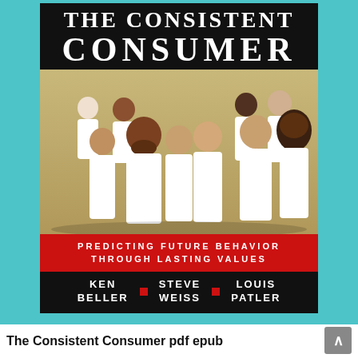[Figure (illustration): Book cover of 'The Consistent Consumer: Predicting Future Behavior Through Lasting Values' by Ken Beller, Steve Weiss, and Louis Patler. Black top bar with title in white serif font, photo of diverse group of people dressed in white on a tan/gold background, red banner with subtitle, black bottom bar with author names separated by red squares.]
The Consistent Consumer pdf epub